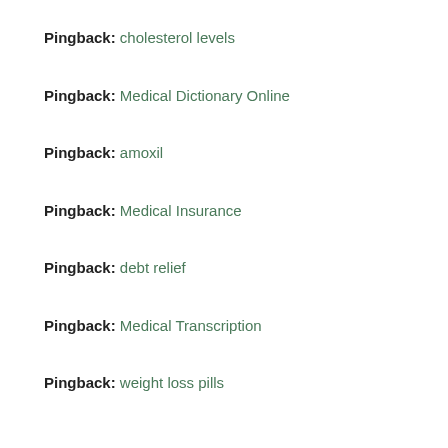Pingback: cholesterol levels
Pingback: Medical Dictionary Online
Pingback: amoxil
Pingback: Medical Insurance
Pingback: debt relief
Pingback: Medical Transcription
Pingback: weight loss pills